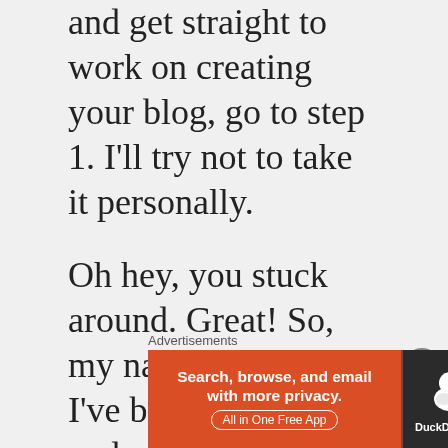and get straight to work on creating your blog, go to step 1. I'll try not to take it personally.
Oh hey, you stuck around. Great! So, my name's Matt and I've been blogging and creating websites for a long, loooong time. I've helped some of my friends start their blogs, and I figured now was the best time to
[Figure (other): DuckDuckGo advertisement banner: orange left section with text 'Search, browse, and email with more privacy. All in One Free App' and dark right section with DuckDuckGo duck logo and brand name]